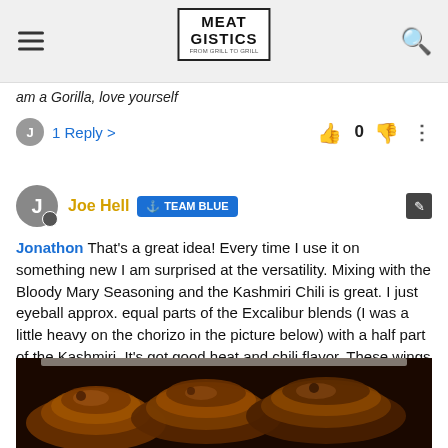MEATGISTICS - FROM GRILL TO GRILL
am a Gorilla, love yourself
1 Reply >  👍 0 👎 ⋮
Joe Hell  TEAM BLUE
Jonathon That's a great idea! Every time I use it on something new I am surprised at the versatility. Mixing with the Bloody Mary Seasoning and the Kashmiri Chili is great. I just eyeball approx. equal parts of the Excalibur blends (I was a little heavy on the chorizo in the picture below) with a half part of the Kashmiri. It's got good heat and chili flavor. These wings were finished with Bee Local Scorpion Hot Honey. Delicious!
[Figure (photo): Cooked chicken wings with dark spicy glaze on a white plate]